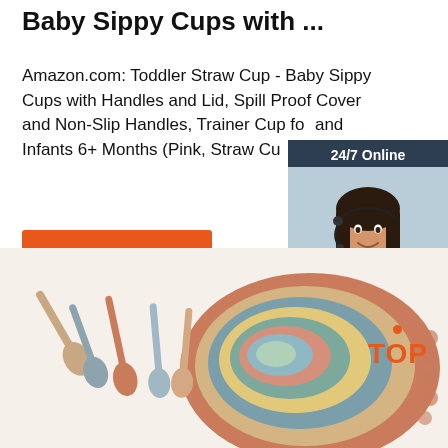Baby Sippy Cups with ...
Amazon.com: Toddler Straw Cup - Baby Sippy Cups with Handles and Lid, Spill Proof Cover and Non-Slip Handles, Trainer Cup for and Infants 6+ Months (Pink, Straw Cu
Get Price
[Figure (photo): Chat widget with a woman wearing a headset, dark background, showing '24/7 Online', 'Click here for free chat!', and a QUOTATION button]
[Figure (photo): Product image of colorful baby silicone spoons and a round plate/mat in muted pastel colors on a light background, with a TOP badge overlay]